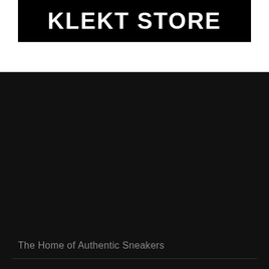KLEKT STORE
The Home of Authentic Sneakers